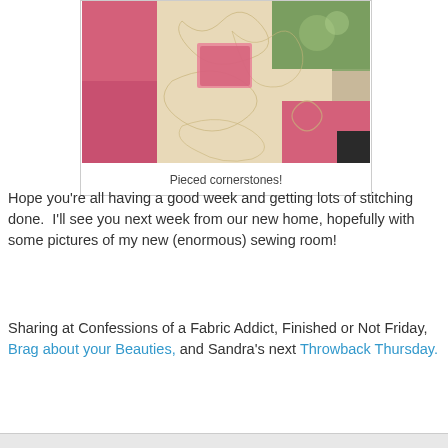[Figure (photo): Close-up photograph of a quilt showing pieced cornerstones with pink, cream, and green patchwork fabric squares with quilting stitches visible]
Pieced cornerstones!
Hope you're all having a good week and getting lots of stitching done.  I'll see you next week from our new home, hopefully with some pictures of my new (enormous) sewing room!
Sharing at Confessions of a Fabric Addict, Finished or Not Friday, Brag about your Beauties, and Sandra's next Throwback Thursday.